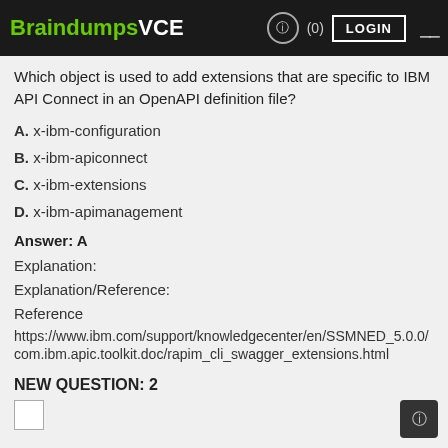BraindumpsVCE (0) LOGIN
Which object is used to add extensions that are specific to IBM API Connect in an OpenAPI definition file?
A. x-ibm-configuration
B. x-ibm-apiconnect
C. x-ibm-extensions
D. x-ibm-apimanagement
Answer: A
Explanation:
Explanation/Reference:
Reference
https://www.ibm.com/support/knowledgecenter/en/SSMNED_5.0.0/com.ibm.apic.toolkit.doc/rapim_cli_swagger_extensions.html
NEW QUESTION: 2